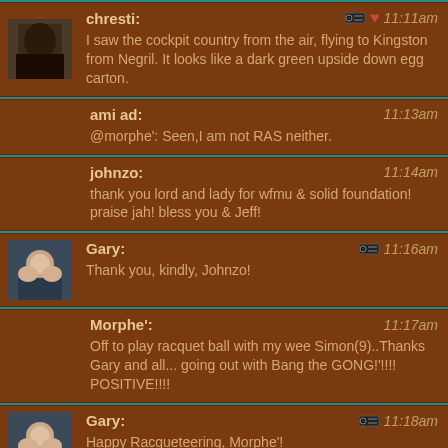chresti: 11:11am — I saw the cockpit country from the air, flying to Kingston from Negril. It looks like a dark green upside down egg carton.
ami ad: 11:13am — @morphe': Seen,I am not RAS neither.
johnzo: 11:14am — thank you lord and lady for wfmu & solid foundation! praise jah! bless you & Jeff!
Gary: 11:16am — Thank you, kindly, Johnzo!
Morphe': 11:17am — Off to play racquet ball with my wee Simon(9)..Thanks Gary and all... going out with Bang the GONG!'!!!! POSITIVE!!!!
Gary: 11:18am — Happy Racqueteering, Morphe'!
chresti: 11:20am — Gary, how long do have the Solid Foundation gig?
Gary: 11:21am